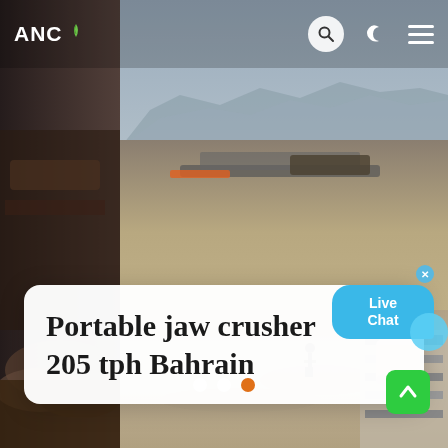[Figure (photo): Aerial view of a quarry/mining/crushing site with conveyor belts, heavy machinery, and excavated terrain. Hazy sky with hills in background. Dark equipment visible on left side.]
ANC
Portable jaw crusher 205 tph Bahrain
[Figure (infographic): Live Chat speech bubble in blue with close X button]
Slider navigation dots (3 dots, third active/orange)
[Figure (other): Green scroll-to-top button with up arrow]